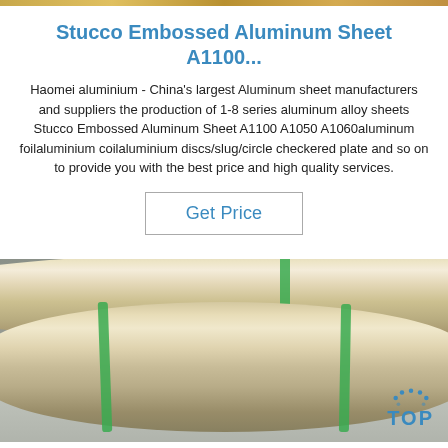Stucco Embossed Aluminum Sheet A1100...
Haomei aluminium - China's largest Aluminum sheet manufacturers and suppliers the production of 1-8 series aluminum alloy sheets Stucco Embossed Aluminum Sheet A1100 A1050 A1060aluminum foilaluminium coilaluminium discs/slug/circle checkered plate and so on to provide you with the best price and high quality services.
Get Price
[Figure (photo): Photo of large aluminum coil rolls stacked in a warehouse, with green plastic strapping bands. A 'TOP' logo watermark is visible in the bottom right corner.]